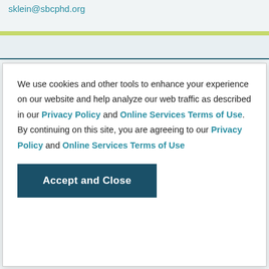sklein@sbcphd.org
We use cookies and other tools to enhance your experience on our website and help analyze our web traffic as described in our Privacy Policy and Online Services Terms of Use. By continuing on this site, you are agreeing to our Privacy Policy and Online Services Terms of Use
Accept and Close